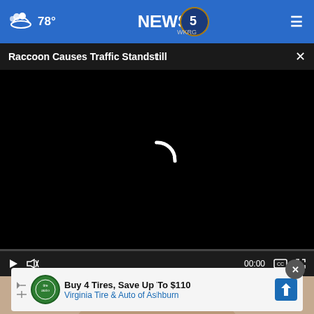78° NEWS 5 WKRG
Raccoon Causes Traffic Standstill
[Figure (screenshot): Video player showing black loading screen with spinning loader icon and video controls bar at bottom showing 00:00 timestamp, play button, mute button, and fullscreen button]
[Figure (photo): Partial face of a woman with dark hair visible at bottom of screen]
Buy 4 Tires, Save Up To $110 Virginia Tire & Auto of Ashburn